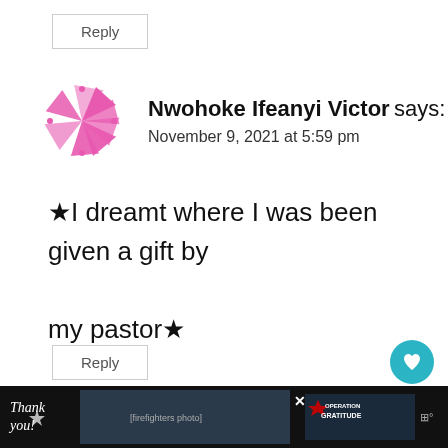Reply
Nwohoke Ifeanyi Victor says: November 9, 2021 at 5:59 pm
★I dreamt where I was been given a gift by my pastor★
Reply
[Figure (illustration): Pink pinwheel/spinner avatar icon]
[Figure (photo): Advertisement banner: Thank you with Operation Gratitude and firefighters photo]
54